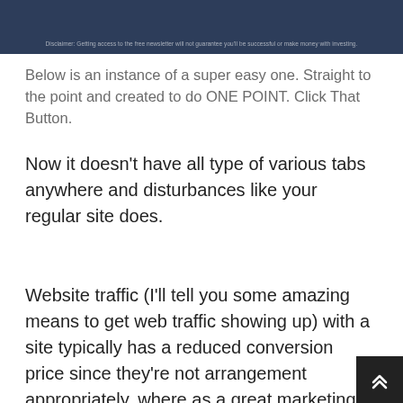[Figure (screenshot): Dark navy blue banner/header section with a disclaimer text at the bottom: 'Disclaimer: Getting access to the free newsletter will not guarantee you'll be successful or make money with investing.']
Below is an instance of a super easy one. Straight to the point and created to do ONE POINT. Click That Button.
Now it doesn't have all type of various tabs anywhere and disturbances like your regular site does.
Website traffic (I'll tell you some amazing means to get web traffic showing up) with a site typically has a reduced conversion price since they're not arrangement appropriately, where as a great marketing channel will capture 6-8 out of those 10 people …